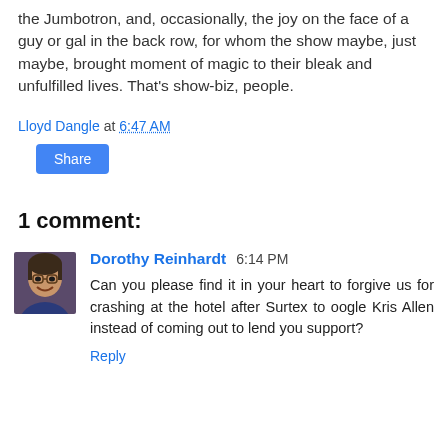the Jumbotron, and, occasionally, the joy on the face of a guy or gal in the back row, for whom the show maybe, just maybe, brought moment of magic to their bleak and unfulfilled lives. That's show-biz, people.
Lloyd Dangle at 6:47 AM
Share
1 comment:
Dorothy Reinhardt 6:14 PM
Can you please find it in your heart to forgive us for crashing at the hotel after Surtex to oogle Kris Allen instead of coming out to lend you support?
Reply